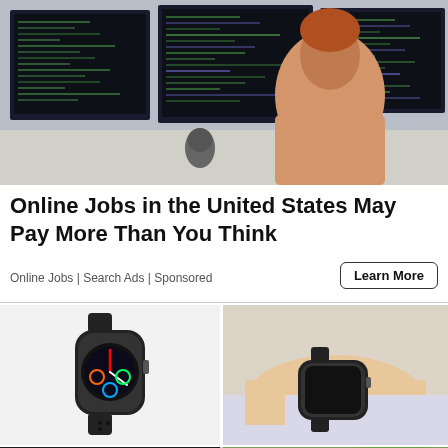[Figure (photo): Person viewed from behind sitting at a desk with multiple monitors displaying data/code screens]
Online Jobs in the United States May Pay More Than You Think
Online Jobs | Search Ads | Sponsored
Learn More
[Figure (photo): Black smartwatch product photo on white background showing colorful watch face]
[Figure (photo): Black smartwatch worn on a wrist resting on a surface]
[Figure (photo): Smartwatch on wrist showing heart rate ECG display reading 84 BPM]
[Figure (photo): White/silver smartwatch worn on wrist outdoors in green background showing colorful watch face]